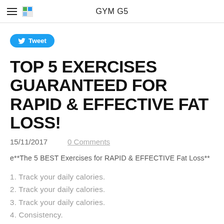GYM G5
Tweet
TOP 5 EXERCISES GUARANTEED FOR RAPID & EFFECTIVE FAT LOSS!
15/11/2017    0 Comments
e**The 5 BEST Exercises for RAPID & EFFECTIVE Fat Loss**
1. Track your daily calories.
2. Track your daily calories.
3. Track your daily calories.
4. Consistency.